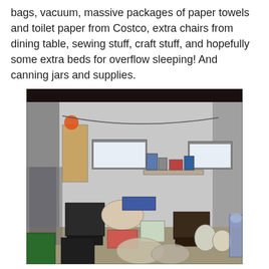bags, vacuum, massive packages of paper towels and toilet paper from Costco, extra chairs from dining table, sewing stuff, craft stuff, and hopefully some extra beds for overflow sleeping! And canning jars and supplies.
[Figure (photo): Interior of a cluttered storage room or garage with white walls and ceiling, two small horizontal windows on the back wall, shelves with boxes and supplies, large storage bins and containers stacked on the floor, bags, jugs, and miscellaneous household items throughout.]